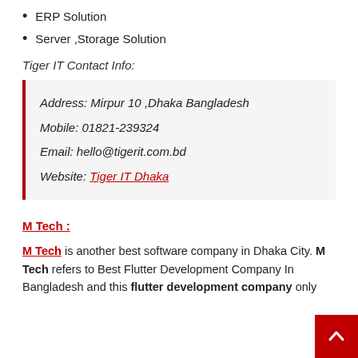ERP Solution
Server ,Storage Solution
Tiger IT Contact Info:
Address: Mirpur 10 ,Dhaka Bangladesh
Mobile: 01821-239324
Email: hello@tigerit.com.bd
Website: Tiger IT Dhaka
M Tech :
M Tech is another best software company in Dhaka City. M Tech refers to Best Flutter Development Company In Bangladesh and this flutter development company only